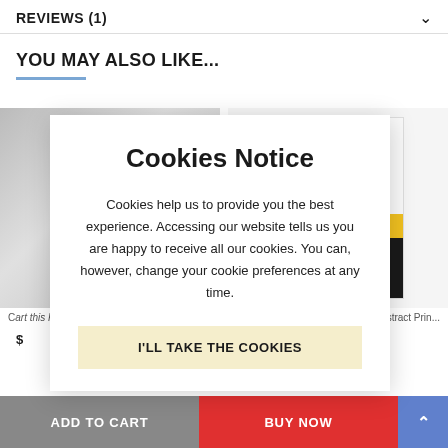REVIEWS (1)
YOU MAY ALSO LIKE...
[Figure (photo): Two product images side by side: left shows a gray/silver gradient poster, right shows an abstract art print with white, yellow, and black horizontal bands.]
Cart this Price Or Poster...
Rise of Darn Abstract Prin...
$
Cookies Notice
Cookies help us to provide you the best experience. Accessing our website tells us you are happy to receive all our cookies. You can, however, change your cookie preferences at any time.
I'LL TAKE THE COOKIES
ADD TO CART    BUY NOW